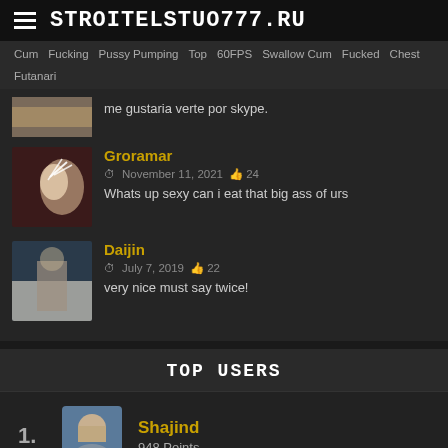STROITELSTUO777.RU
Cum Fucking Pussy Pumping Top 60FPS Swallow Cum Fucked Chest Futanari
me gustaria verte por skype.
Groramar
November 11, 2021  24
Whats up sexy can i eat that big ass of urs
Daijin
July 7, 2019  22
very nice must say twice!
TOP USERS
1. Shajind — 948 Points
2. Kibei — 879 Points